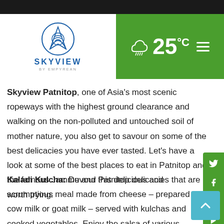[Figure (logo): Skyview by Empyrean logo with circular blue emblem and text]
[Figure (infographic): Green header bar showing rainy cloud weather icon and temperature 25°C with hamburger menu icon]
Skyview Patnitop, one of Asia's most scenic ropeways with the highest ground clearance and walking on the non-polluted and untouched soil of mother nature, you also get to savour on some of the best delicacies you have ever tasted. Let's have a look at some of the best places to eat in Patnitop and the famous Jammu and Patnitop delicacies that are worth trying:
Kaladi Kulcha: Devour this delicious and scrumptious meal made from cheese – prepared from cow milk or goat milk – served with kulchas and cooked vegetables. Enjoy the salsa of various flavours and let your taste buds dance on the bite beats. Kaladi Kulcha